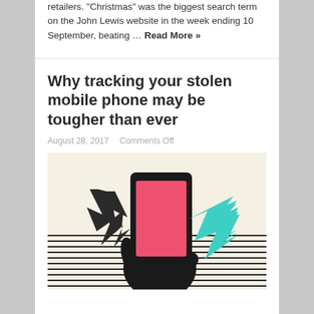retailers. “Christmas” was the biggest search term on the John Lewis website in the week ending 10 September, beating … Read More »
Why tracking your stolen mobile phone may be tougher than ever
August 28, 2017   Comments Off
[Figure (illustration): Illustration of a hand holding a smartphone with a pink/red screen, with a teal arrow pointing at it from the right and a dark arrow pointing downward from the left, against a background of horizontal black lines on a cream/beige background.]